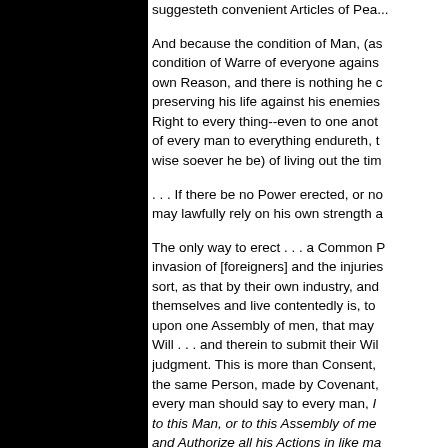suggesteth convenient Articles of Pea...
And because the condition of Man, (as condition of Warre of everyone agains own Reason, and there is nothing he d preserving his life against his enemies Right to every thing--even to one anot of every man to everything endureth, t wise soever he be) of living out the tim
. . . If there be no Power erected, or n may lawfully rely on his own strength a
The only way to erect . . . a Common invasion of [foreigners] and the injuries sort, as that by their own industry, and themselves and live contentedly is, to upon one Assembly of men, that may Will . . . and therein to submit their Wi judgment. This is more than Consent, the same Person, made by Covenant every man should say to every man, to this Man, or to this Assembly of me and Authorize all his Actions in like ma Person, is called a COMMONWEALT particular man in the Commonwealt